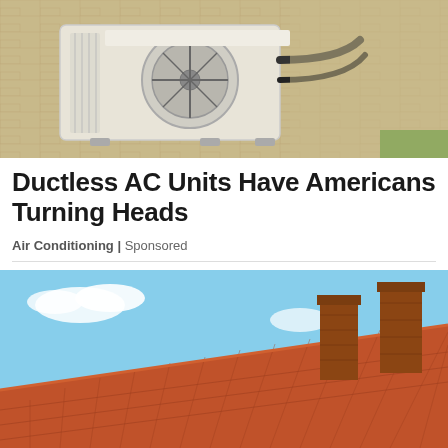[Figure (photo): Outdoor ductless AC unit mounted on a tan brick wall with black tubing running along the wall]
Ductless AC Units Have Americans Turning Heads
Air Conditioning | Sponsored
[Figure (photo): Tiled orange-red roof with two brick chimneys against a blue sky]
We and our partners use cookies on this site to improve our service, perform analytics, personalize advertising, measure advertising performance, and remember website preferences.
Ok